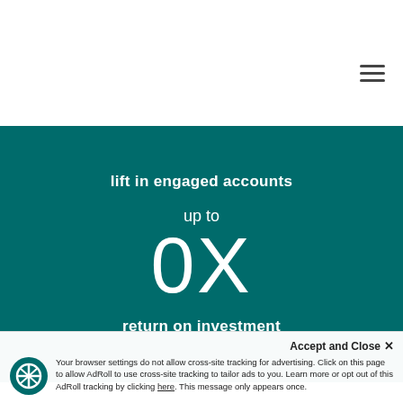[Figure (other): Hamburger menu icon (three horizontal lines) in top-right white area]
lift in engaged accounts
up to
0X
return on investment
Accept and Close ✕
Your browser settings do not allow cross-site tracking for advertising. Click on this page to allow AdRoll to use cross-site tracking to tailor ads to you. Learn more or opt out of this AdRoll tracking by clicking here. This message only appears once.